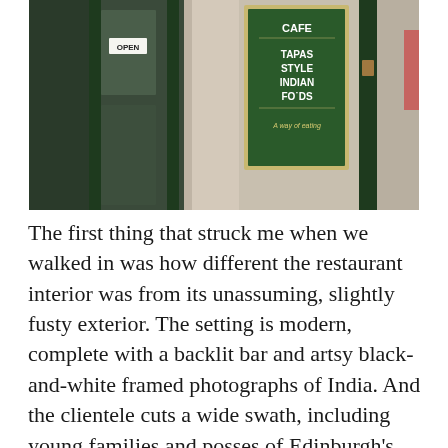[Figure (photo): Exterior photograph of a cafe with dark green doors and signage. An 'OPEN' sign is visible on the glass door. A green sign on the wall reads 'CAFE TAPAS STYLE INDIAN FOODS A way of eating'.]
The first thing that struck me when we walked in was how different the restaurant interior was from its unassuming, slightly fusty exterior. The setting is modern, complete with a backlit bar and artsy black-and-white framed photographs of India. And the clientele cuts a wide swath, including young families and posses of Edinburgh's fashion forward.